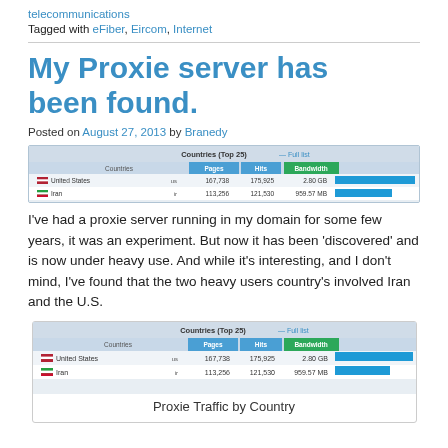telecommunications
Tagged with eFiber, Eircom, Internet
My Proxie server has been found.
Posted on August 27, 2013 by Branedy
[Figure (screenshot): Screenshot of a web analytics table showing Countries (Top 25) with columns Countries, Pages, Hits, Bandwidth. United States: us, 167,738, 175,925, 2.80 GB. Iran: ir, 113,256, 121,530, 959.57 MB. Bar graphs shown for bandwidth.]
I've had a proxie server running in my domain for some few years, it was an experiment. But now it has been 'discovered' and is now under heavy use. And while it's interesting, and I don't mind, I've found that the two heavy users country's involved Iran and the U.S.
[Figure (screenshot): Screenshot of web analytics table Countries (Top 25) with columns Countries, Pages, Hits, Bandwidth. United States: us, 167,738, 175,925, 2.80 GB. Iran: ir, 113,256, 121,530, 959.57 MB. Bar graphs shown for bandwidth.]
Proxie Traffic by Country